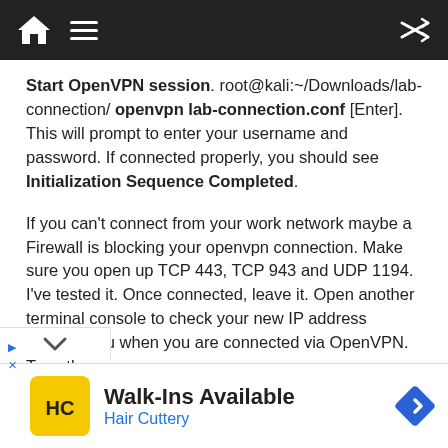[Figure (screenshot): Dark navigation bar with home icon, hamburger menu, and shuffle icon on the right]
Start OpenVPN session. root@kali:~/Downloads/lab-connection/ openvpn lab-connection.conf [Enter]. This will prompt to enter your username and password. If connected properly, you should see Initialization Sequence Completed.
If you can't connect from your work network maybe a Firewall is blocking your openvpn connection. Make sure you open up TCP 443, TCP 943 and UDP 1194. I've tested it. Once connected, leave it. Open another terminal console to check your new IP address assigned ou when you are connected via OpenVPN. Type the
[Figure (screenshot): Advertisement banner: Hair Cuttery — Walk-Ins Available, with yellow HC logo and blue navigation arrow icon]